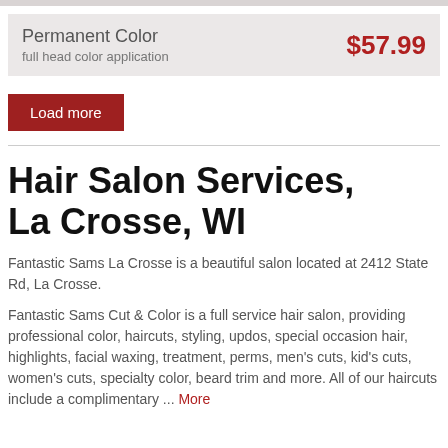| Service | Price |
| --- | --- |
| Permanent Color
full head color application | $57.99 |
Load more
Hair Salon Services, La Crosse, WI
Fantastic Sams La Crosse is a beautiful salon located at 2412 State Rd, La Crosse.
Fantastic Sams Cut & Color is a full service hair salon, providing professional color, haircuts, styling, updos, special occasion hair, highlights, facial waxing, treatment, perms, men's cuts, kid's cuts, women's cuts, specialty color, beard trim and more. All of our haircuts include a complimentary ... More